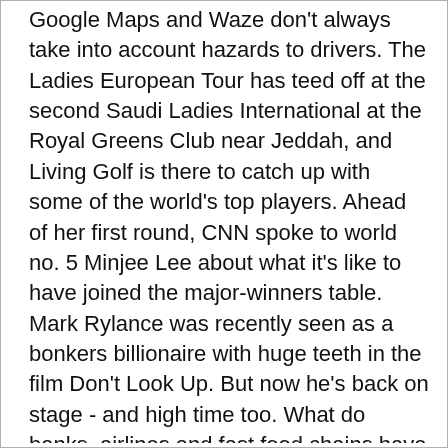Google Maps and Waze don't always take into account hazards to drivers. The Ladies European Tour has teed off at the second Saudi Ladies International at the Royal Greens Club near Jeddah, and Living Golf is there to catch up with some of the world's top players. Ahead of her first round, CNN spoke to world no. 5 Minjee Lee about what it's like to have joined the major-winners table. Mark Rylance was recently seen as a bonkers billionaire with huge teeth in the film Don't Look Up. But now he's back on stage - and high time too. What do banks, airlines and fast food chains have in common? Harga salep cycrin daftar. Police launch urgent search after concerns for the welfare of missing mum Roxana, 19, pictured, and her five-day-old baby last seen leaving a hotel in Highbridge Road, Barking, in cycrin East London. Beijing has locked down another two districts under its Zero-Covid policy putting thousands of people under harsh restrictions with just four days left to go until the Winter Olympics begin.